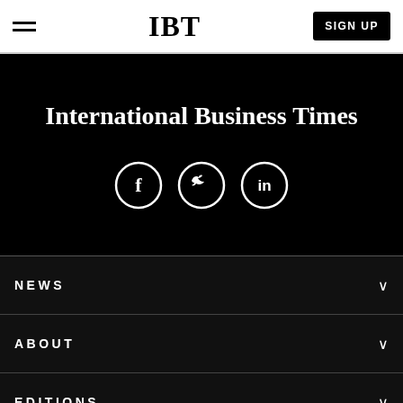IBT  SIGN UP
International Business Times
[Figure (illustration): Three social media icon circles: Facebook (f), Twitter (bird), LinkedIn (in)]
NEWS
ABOUT
EDITIONS